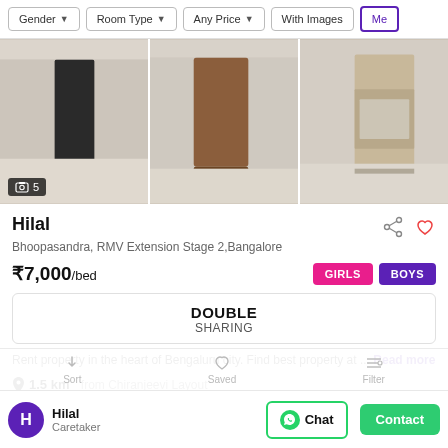Gender | Room Type | Any Price | With Images | Me
[Figure (photo): Three room photos side by side showing furnished rooms with wardrobes and beige walls. Photo count badge shows 5.]
Hilal
Bhoopasandra, RMV Extension Stage 2,Bangalore
₹7,000/bed  GIRLS  BOYS
DOUBLE SHARING
Rent property in the heart of Bengaluru city. Find best property at ... Read more
1.5 km from Chiranjeevi Layout
Hilal Caretaker
Chat  Contact